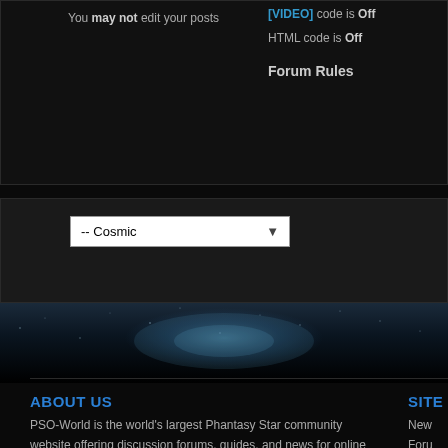You may not edit your posts
[VIDEO] code is Off
HTML code is Off
Forum Rules
[Figure (screenshot): Dropdown selector showing '-- Cosmic' option with down arrow]
[Figure (photo): Space/galaxy background transition with blue-teal glow]
ABOUT US
PSO-World is the world's largest Phantasy Star community website offering discussion forums, guides, and news for online Phantasy Star games.
SITE
New
Foru
Galle